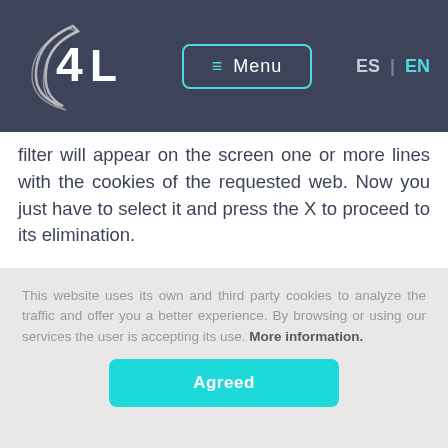Menu | ES | EN
filter will appear on the screen one or more lines with the cookies of the requested web. Now you just have to select it and press the X to proceed to its elimination.
To access the cookie settings of your Internet Explorer browser follow these
This website uses its own and third party cookies to analyze the traffic and offer you a better experience. By browsing or using our services the user is accepting its use. More information.
Agreed